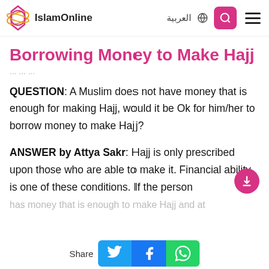IslamOnline | العربية
Borrowing Money to Make Hajj
QUESTION: A Muslim does not have money that is enough for making Hajj, would it be Ok for him/her to borrow money to make Hajj?
ANSWER by Attya Sakr: Hajj is only prescribed upon those who are able to make it. Financial ability is one of these conditions. If the person has money that is enough to make Hajj and at
Share